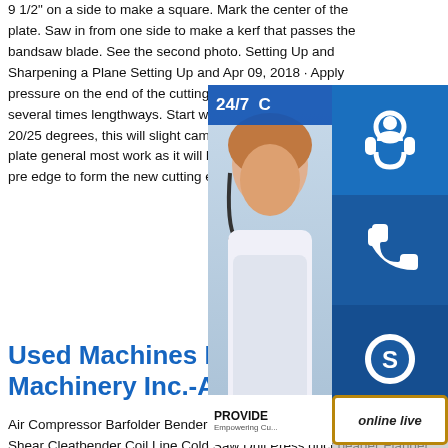9 1/2" on a side to make a square. Mark the center of the plate. Saw in from one side to make a kerf that passes the bandsaw blade. See the second photo. Setting Up and Sharpening a Plane Setting Up and Apr 09, 2018 · Apply pressure on the end of the cutting iron, push the plate several times lengthways. Start with degrees and end it at 20/25 degrees, this will slight camber to the bevel. This plate general most work as it will be abrading away the pre edge to form the new cutting edge.
[Figure (infographic): Customer service widget overlay with 24/7 text, support agent icons (headset, phone, Skype), a photo of a woman wearing a headset, a 'PROVIDE Empowering Cu...' branding bar, and an 'online live' button.]
Used Machines Red Rive Machinery Inc.-Air Comp
Air Compressor Barfolder Bender Box & Pan Brake Cheek Bender Circle Shear Cleatbender Coil Line Cold Saw Drill Press duct beader Flanger Folding Machine Gutter Machine Ironworker Laser Notcher Press Pinspotter Pipe Bender Plasma Table Plate Roll Press Brake Punche Ring Roller Rollformer Roof Pan metal cutting - How can I cut extremely heavy cast iron 0. It is likely gray cast iron which cuts easily